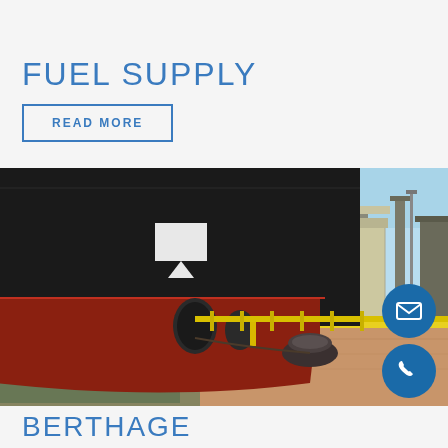FUEL SUPPLY
READ MORE
[Figure (photo): Large black and red-hulled cargo ship moored at a port dock. The ship's hull is dark black above the waterline and red-orange below. The dock surface is sandy/orange colored with yellow safety markings. A mooring bollard is visible in the foreground. Port cranes and industrial structures are visible in the background under a clear blue sky.]
BERTHAGE